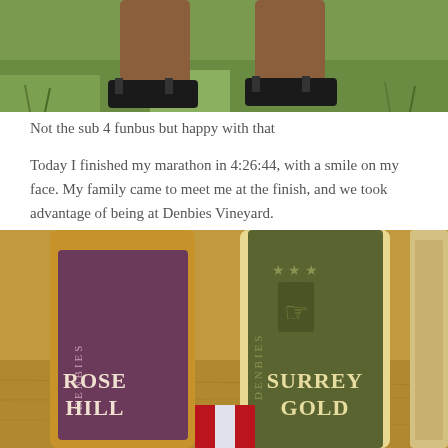[Figure (photo): Photo of person's legs and feet in sandals standing on grass, viewed from above]
Not the sub 4 funbus but happy with that
Today I finished my marathon in 4:26:44, with a smile on my face. My family came to meet me at the finish, and we took advantage of being at Denbies Vineyard.
[Figure (photo): Close-up photo of two Denbies wine bottles: Rose Hill (purple label) and Surrey Gold (olive green label), with a marathon medal ribbon visible at the bottom]